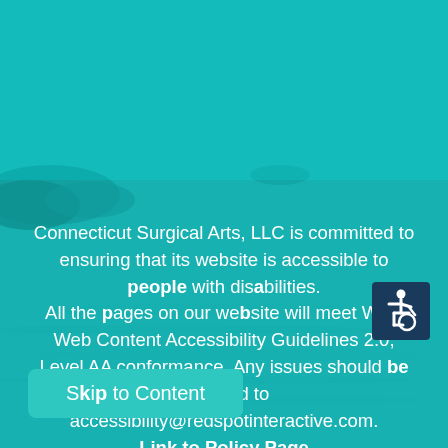[Figure (photo): Ocean/seascape background with teal/turquoise color overlay showing rocky coastline and calm water]
Connecticut Surgical Arts, LLC is committed to ensuring that its website is accessible to people with disabilities. All the pages on our website will meet W3C Web Content Accessibility Guidelines 2.0, Level AA conformance. Any issues should be reported to accessibility@redspotinteractive.com. Link to Policy Page
Skip to Content